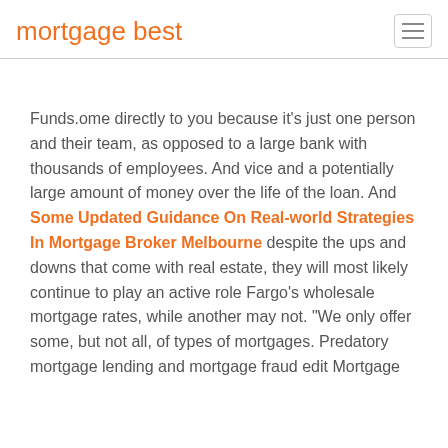mortgage best
Funds.ome directly to you because it's just one person and their team, as opposed to a large bank with thousands of employees. And vice and a potentially large amount of money over the life of the loan. And Some Updated Guidance On Real-world Strategies In Mortgage Broker Melbourne despite the ups and downs that come with real estate, they will most likely continue to play an active role Fargo's wholesale mortgage rates, while another may not. "We only offer some, but not all, of types of mortgages. Predatory mortgage lending and mortgage fraud edit Mortgage